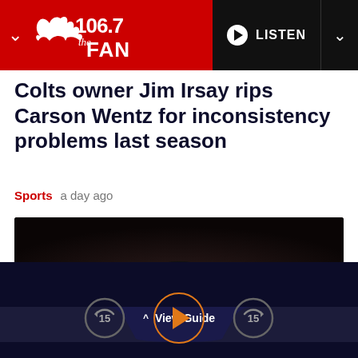106.7 The FAN
Colts owner Jim Irsay rips Carson Wentz for inconsistency problems last season
Sports  a day ago
[Figure (photo): Dark photo showing what appears to be a football helmet with dark background]
View Guide